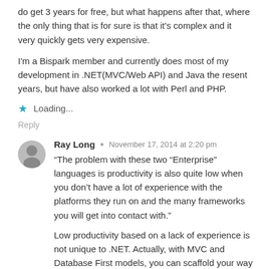do get 3 years for free, but what happens after that, where the only thing that is for sure is that it's complex and it very quickly gets very expensive.
I'm a Bispark member and currently does most of my development in .NET(MVC/Web API) and Java the resent years, but have also worked a lot with Perl and PHP.
Loading...
Reply
Ray Long  November 17, 2014 at 2:20 pm
“The problem with these two “Enterprise” languages is productivity is also quite low when you don’t have a lot of experience with the platforms they run on and the many frameworks you will get into contact with.”
Low productivity based on a lack of experience is not unique to .NET. Actually, with MVC and Database First models, you can scaffold your way through a CRUD-style app in an afternoon; throw in your favorite Bootrap theme, deploy to either AppHarbor or Azure, and be on your way.